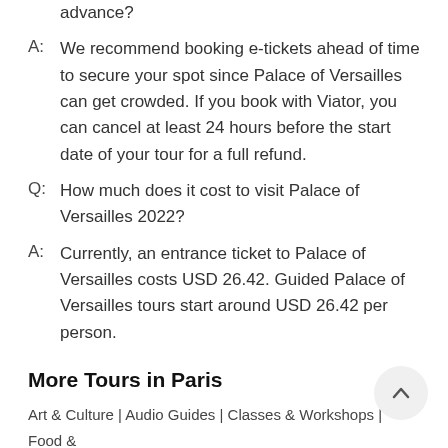advance?
A: We recommend booking e-tickets ahead of time to secure your spot since Palace of Versailles can get crowded. If you book with Viator, you can cancel at least 24 hours before the start date of your tour for a full refund.
Q: How much does it cost to visit Palace of Versailles 2022?
A: Currently, an entrance ticket to Palace of Versailles costs USD 26.42. Guided Palace of Versailles tours start around USD 26.42 per person.
More Tours in Paris
Art & Culture | Audio Guides | Classes & Workshops | Food & Kid-Friendly | Likely To Sell Out | Outdoor Activities |